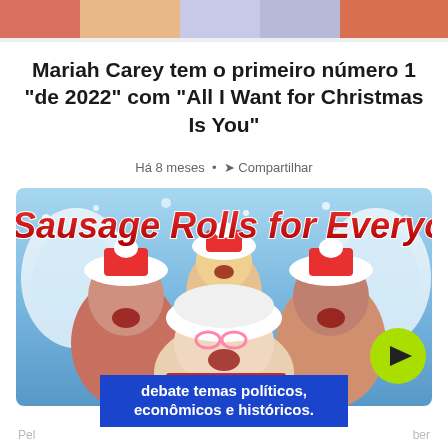[Figure (photo): Partial image strip at the top of the page, colorful background suggesting people or festive imagery]
Mariah Carey tem o primeiro número 1 "de 2022" com "All I Want for Christmas Is You"
Há 8 meses · Compartilhar
[Figure (photo): Photo of four people in festive Christmas outfits and Santa hats in front of a snowy winter background with text 'Sausage Rolls for Everyone' in red at the top, and a yellow-green play button overlay in the bottom right]
[Figure (other): Blue advertisement banner with white bold text: 'debate temas políticos, econômicos e históricos.']
Pel ber